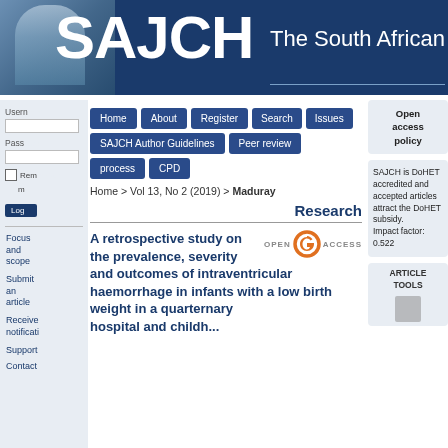SAJCH  The South African
Home  About  Register  Search  Issues  SAJCH Author Guidelines  Peer review process  CPD
Home > Vol 13, No 2 (2019) > Maduray
Research
OPEN ACCESS
A retrospective study on the prevalence, severity and outcomes of intraventricular haemorrhage in infants with a low birth weight in a quarternary hospital and childh...
Open access policy
SAJCH is DoHET accredited and accepted articles attract the DoHET subsidy. Impact factor: 0.522
Focus and scope
Submit an article
Receive notifications
Support
Contact
ARTICLE TOOLS